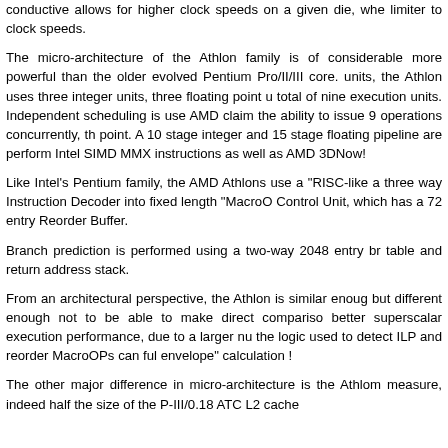conductive allows for higher clock speeds on a given die, whe... limiter to clock speeds.
The micro-architecture of the Athlon family is of considerable more powerful than the older evolved Pentium Pro/II/III core. units, the Athlon uses three integer units, three floating point u total of nine execution units. Independent scheduling is use AMD claim the ability to issue 9 operations concurrently, th point. A 10 stage integer and 15 stage floating pipeline are perform Intel SIMD MMX instructions as well as AMD 3DNow!
Like Intel's Pentium family, the AMD Athlons use a "RISC-like a three way Instruction Decoder into fixed length "MacroO Control Unit, which has a 72 entry Reorder Buffer.
Branch prediction is performed using a two-way 2048 entry br table and return address stack.
From an architectural perspective, the Athlon is similar enoug but different enough not to be able to make direct compariso better superscalar execution performance, due to a larger nu the logic used to detect ILP and reorder MacroOPs can ful envelope" calculation !
The other major difference in micro-architecture is the Athlom measure, indeed half the size of the P-III/0.18 ATC L2 cache